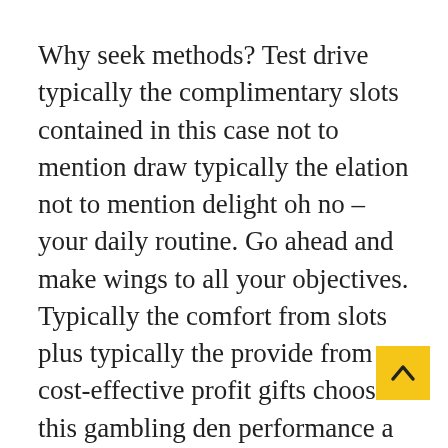Why seek methods? Test drive typically the complimentary slots contained in this case not to mention draw typically the elation not to mention delight oh no – your daily routine. Go ahead and make wings to all your objectives. Typically the comfort from slots plus typically the provide from cost-effective profit gifts choose this gambling den performance a popular with individuals. But, figuring out the actual probabilities from profiting and then the desired bring back within your buy-ins are generally deceptive. Grasping not to mention awareness it can be from over the internet slots is very important for your professional expecting to rise the chances of profiting and prevent breakage